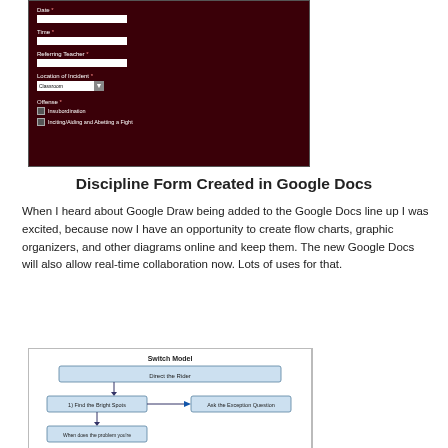[Figure (screenshot): Screenshot of a discipline form created in Google Docs with dark red background. Fields shown: Date (text input), Time (text input), Referring Teacher (text input), Location of Incident (dropdown set to Classroom), Offense section with checkboxes for Insubordination and Inciting/Aiding and Abetting a Fight.]
Discipline Form Created in Google Docs
When I heard about Google Draw being added to the Google Docs line up I was excited, because now I have an opportunity to create flow charts, graphic organizers, and other diagrams online and keep them. The new Google Docs will also allow real-time collaboration now. Lots of uses for that.
[Figure (flowchart): Flowchart titled 'Switch Model' showing boxes: 'Direct the Rider' at top, then '1) Find the Bright Spots' with an arrow pointing right to 'Ask the Exception Question', and below that a partially visible box starting with 'When does the problem you're'.]